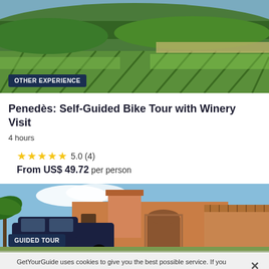[Figure (photo): Aerial view of vineyard landscape with green rows of grapevines and mountains in the background]
OTHER EXPERIENCE
Penedès: Self-Guided Bike Tour with Winery Visit
4 hours
5.0 (4)
From US$ 49.72 per person
[Figure (photo): Exterior of a winery building with orange/terracotta facade, arched entrance, tower, and a dark van parked outside]
GUIDED TOUR
GetYourGuide uses cookies to give you the best possible service. If you continue browsing, you agree to the use of cookies. More details can be found in our privacy policy.